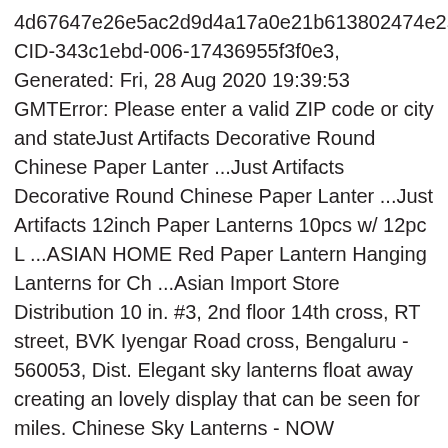4d67647e26e5ac2d9d4a17a0e21b613802474e25, CID-343c1ebd-006-17436955f3f0e3, Generated: Fri, 28 Aug 2020 19:39:53 GMTError: Please enter a valid ZIP code or city and stateJust Artifacts Decorative Round Chinese Paper Lanter ...Just Artifacts Decorative Round Chinese Paper Lanter ...Just Artifacts 12inch Paper Lanterns 10pcs w/ 12pc L ...ASIAN HOME Red Paper Lantern Hanging Lanterns for Ch ...Asian Import Store Distribution 10 in. #3, 2nd floor 14th cross, RT street, BVK Iyengar Road cross, Bengaluru - 560053, Dist. Elegant sky lanterns float away creating an lovely display that can be seen for miles. Chinese Sky Lanterns - NOW DISCOUNTED. The lantern is versatile and can be placed indoors or out. These were beautiful lanterns and relatively easy to light using a lighter. Bedside Table Hidden Mini Fridge, Sky Go: UK / Ireland only. Achieve ambient, glowing light with modern design in this black metal cylinder lantern, featuring a pierced metal dotted fan design. Use our advertising yard signs to get your message out. Bengaluru